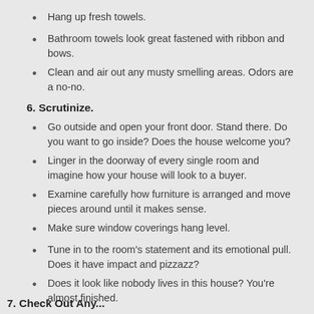Hang up fresh towels.
Bathroom towels look great fastened with ribbon and bows.
Clean and air out any musty smelling areas. Odors are a no-no.
6. Scrutinize.
Go outside and open your front door. Stand there. Do you want to go inside? Does the house welcome you?
Linger in the doorway of every single room and imagine how your house will look to a buyer.
Examine carefully how furniture is arranged and move pieces around until it makes sense.
Make sure window coverings hang level.
Tune in to the room's statement and its emotional pull. Does it have impact and pizzazz?
Does it look like nobody lives in this house? You're almost finished.
7. Check Out Any...